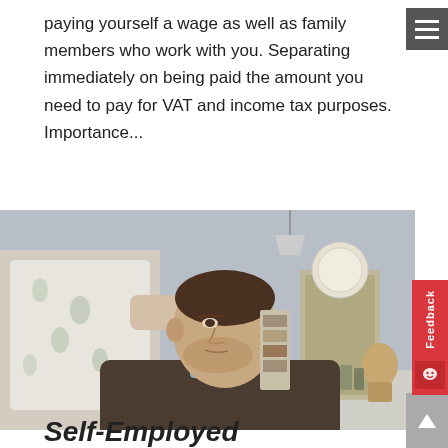paying yourself a wage as well as family members who work with you. Separating immediately on being paid the amount you need to pay for VAT and income tax purposes. Importance...
[Figure (photo): A barber cutting a male client's hair with electric clippers in a modern barbershop. The barber wears a floral shirt and the client is seated in a chair wearing a dark cape.]
Self-Employed